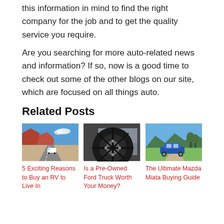this information in mind to find the right company for the job and to get the quality service you require.
Are you searching for more auto-related news and information? If so, now is a good time to check out some of the other blogs on our site, which are focused on all things auto.
Related Posts
[Figure (photo): RV driving on a desert highway with red rock formations]
5 Exciting Reasons to Buy an RV to Live In
[Figure (photo): Close-up of a large truck tire and wheel]
Is a Pre-Owned Ford Truck Worth Your Money?
[Figure (photo): Blue Mazda Miata convertible parked in a green field]
The Ultimate Mazda Miata Buying Guide